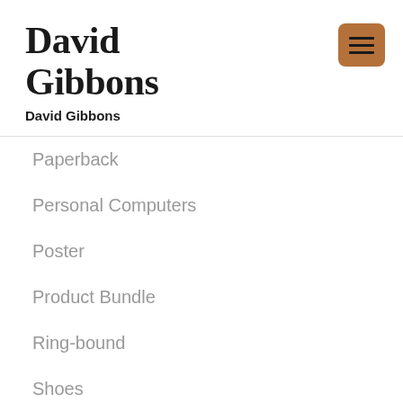David Gibbons
David Gibbons
Paperback
Personal Computers
Poster
Product Bundle
Ring-bound
Shoes
Software
Spiral-bound